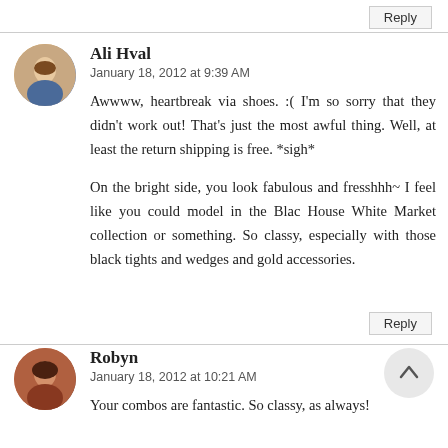Reply
Ali Hval
January 18, 2012 at 9:39 AM
Awwww, heartbreak via shoes. :( I'm so sorry that they didn't work out! That's just the most awful thing. Well, at least the return shipping is free. *sigh*
On the bright side, you look fabulous and fresshhh~ I feel like you could model in the Blac House White Market collection or something. So classy, especially with those black tights and wedges and gold accessories.
Reply
[Figure (photo): Avatar photo of Robyn, a woman with dark hair]
Robyn
January 18, 2012 at 10:21 AM
Your combos are fantastic. So classy, as always!